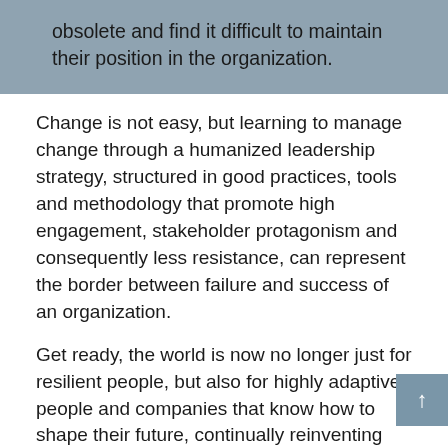obsolete and find it difficult to maintain their position in the organization.
Change is not easy, but learning to manage change through a humanized leadership strategy, structured in good practices, tools and methodology that promote high engagement, stakeholder protagonism and consequently less resistance, can represent the border between failure and success of an organization.
Get ready, the world is now no longer just for resilient people, but also for highly adaptive people and companies that know how to shape their future, continually reinventing themselves to remain competitive.
This is the challenge for all of us, self-knowledge, so that we are the leaders of our own changes and development of technical and human skills so that we